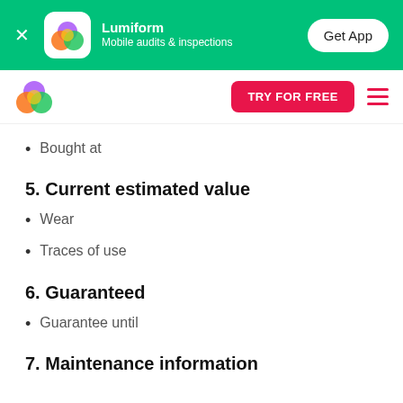[Figure (other): Green app install banner for Lumiform mobile audits and inspections app with Get App button]
[Figure (logo): Lumiform colorful flower/blob logo in navbar with TRY FOR FREE red button and hamburger menu]
Bought at
5. Current estimated value
Wear
Traces of use
6. Guaranteed
Guarantee until
7. Maintenance information